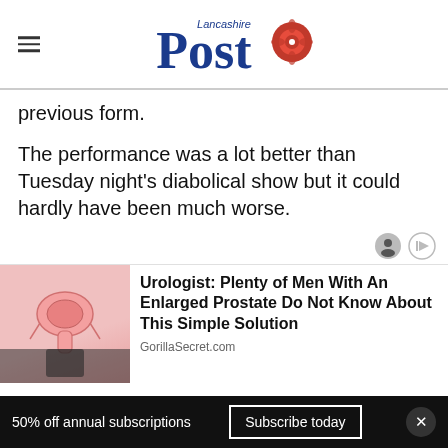Lancashire Post
previous form.
The performance was a lot better than Tuesday night's diabolical show but it could hardly have been much worse.
[Figure (screenshot): Advertisement card showing a medical illustration with text: Urologist: Plenty of Men With An Enlarged Prostate Do Not Know About This Simple Solution. Source: GorillaSecret.com]
50% off annual subscriptions  Subscribe today